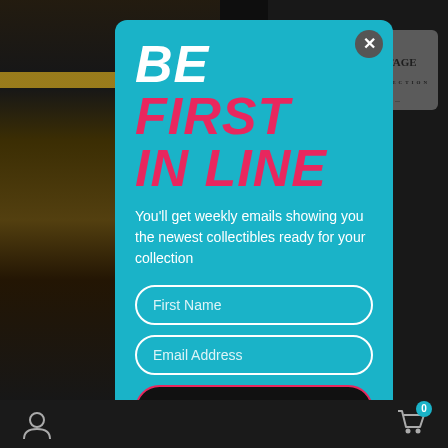[Figure (screenshot): Mobile app screenshot showing a popup/modal overlay on a Star Wars collectibles website. The modal has a teal/cyan background with the heading 'BE FIRST IN LINE', body text about weekly emails for collectibles, two input fields for First Name and Email Address, and a JOIN NOW button. The background shows Star Wars merchandise images.]
BE FIRST IN LINE
You'll get weekly emails showing you the newest collectibles ready for your collection
First Name
Email Address
JOIN NOW